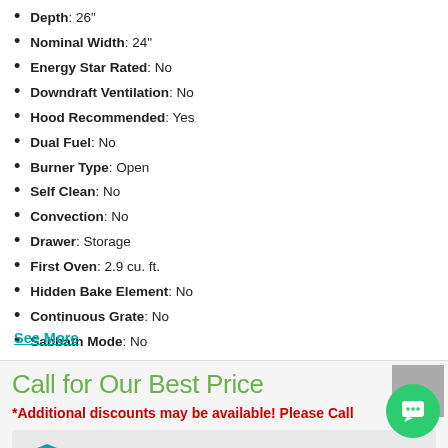Depth: 26"
Nominal Width: 24"
Energy Star Rated: No
Downdraft Ventilation: No
Hood Recommended: Yes
Dual Fuel: No
Burner Type: Open
Self Clean: No
Convection: No
Drawer: Storage
First Oven: 2.9 cu. ft.
Hidden Bake Element: No
Continuous Grate: No
Sabbath Mode: No
WiFi Connected: No
See More
Call for Our Best Price
*Additional discounts may be available! Please Call
Extended Warranty
No Extended Warranty